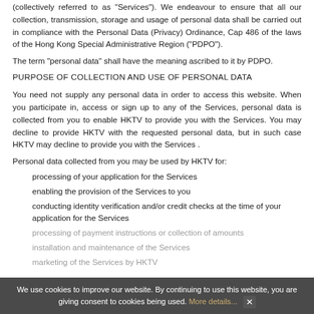(collectively referred to as "Services"). We endeavour to ensure that all our collection, transmission, storage and usage of personal data shall be carried out in compliance with the Personal Data (Privacy) Ordinance, Cap 486 of the laws of the Hong Kong Special Administrative Region ("PDPO").
The term "personal data" shall have the meaning ascribed to it by PDPO.
PURPOSE OF COLLECTION AND USE OF PERSONAL DATA
You need not supply any personal data in order to access this website. When you participate in, access or sign up to any of the Services, personal data is collected from you to enable HKTV to provide you with the Services. You may decline to provide HKTV with the requested personal data, but in such case HKTV may decline to provide you with the Services .
Personal data collected from you may be used by HKTV for:
processing of your application for the Services
enabling the provision of the Services to you
conducting identity verification and/or credit checks at the time of your application for the Services
processing of payment instructions or collection of amounts
installation and maintenance of the Services
marketing of the Services by HKTV
We use cookies to improve our website. By continuing to use this website, you are giving consent to cookies being used. More details...